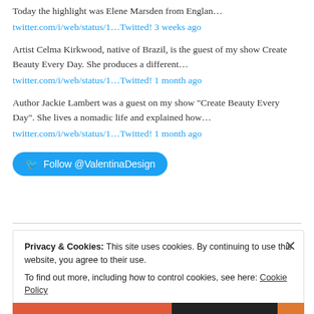Today the highlight was Elene Marsden from Englan...
twitter.com/i/web/status/1…Twitted! 3 weeks ago
Artist Celma Kirkwood, native of Brazil, is the guest of my show Create Beauty Every Day. She produces a different…
twitter.com/i/web/status/1…Twitted! 1 month ago
Author Jackie Lambert was a guest on my show "Create Beauty Every Day". She lives a nomadic life and explained how…
twitter.com/i/web/status/1…Twitted! 1 month ago
Follow @ValentinaDesign
Privacy & Cookies: This site uses cookies. By continuing to use this website, you agree to their use.
To find out more, including how to control cookies, see here: Cookie Policy
Close and accept